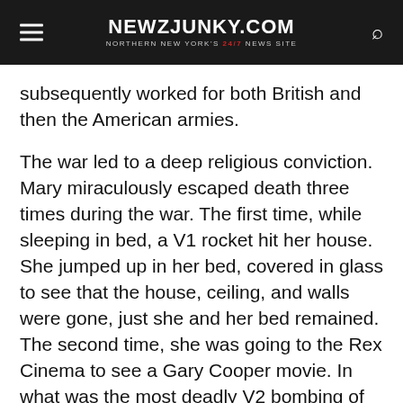NEWZJUNKY.COM — NORTHERN NEW YORK'S 24/7 NEWS SITE
subsequently worked for both British and then the American armies.
The war led to a deep religious conviction. Mary miraculously escaped death three times during the war. The first time, while sleeping in bed, a V1 rocket hit her house. She jumped up in her bed, covered in glass to see that the house, ceiling, and walls were gone, just she and her bed remained. The second time, she was going to the Rex Cinema to see a Gary Cooper movie. In what was the most deadly V2 bombing of WWII, the rocket hit the theater killing or injuring over 1200 people, she survived, helping